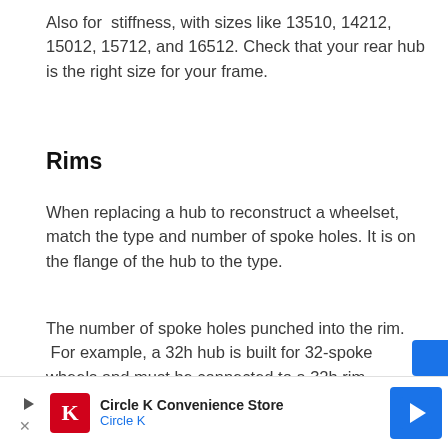Also for  stiffness, with sizes like 13510, 14212, 15012, 15712, and 16512. Check that your rear hub is the right size for your frame.
Rims
When replacing a hub to reconstruct a wheelset, match the type and number of spoke holes. It is on the flange of the hub to the type.
The number of spoke holes punched into the rim.  For example, a 32h hub is built for 32-spoke wheels and must be connected to a 32h rim.
Coaster Brake Hubs Vs Free Wheel Hubs
[Figure (other): Circle K Convenience Store advertisement banner with Circle K logo, play/close buttons, and a blue navigation arrow icon]